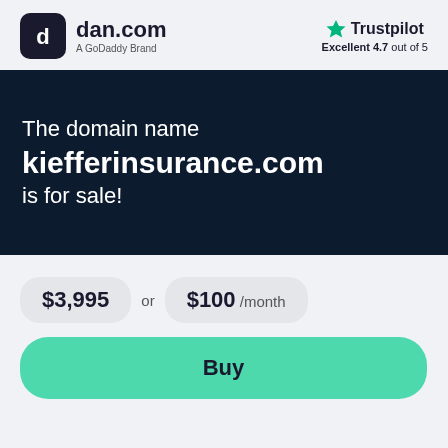[Figure (logo): dan.com logo - dark rounded square icon with 'd' letter and text 'dan.com A GoDaddy Brand']
[Figure (logo): Trustpilot logo with green star and text 'Trustpilot Excellent 4.7 out of 5']
The domain name kiefferinsurance.com is for sale!
$3,995 or $100 /month
Buy